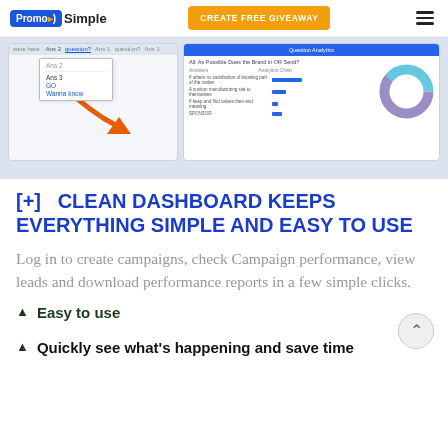PromoSimple | CREATE FREE GIVEAWAY
[Figure (screenshot): Screenshot of PromoSimple dashboard showing quiz/survey analytics with a donut chart and tabular data]
[+]   CLEAN DASHBOARD KEEPS EVERYTHING SIMPLE AND EASY TO USE
Log in to create campaigns, check Campaign performance, view leads and download performance reports in a few simple clicks.
Easy to use
Quickly see what's happening and save time